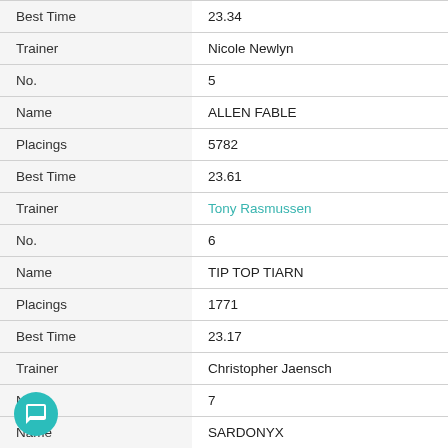| Field | Value |
| --- | --- |
| Best Time | 23.34 |
| Trainer | Nicole Newlyn |
| No. | 5 |
| Name | ALLEN FABLE |
| Placings | 5782 |
| Best Time | 23.61 |
| Trainer | Tony Rasmussen |
| No. | 6 |
| Name | TIP TOP TIARN |
| Placings | 1771 |
| Best Time | 23.17 |
| Trainer | Christopher Jaensch |
| No. | 7 |
| Name | SARDONYX |
| Placings | 8583 |
| Best Time | 23.17 |
| Trainer | Rebecca Mcauley-fry |